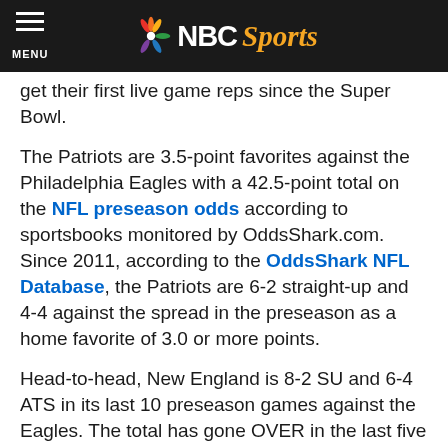NBC Sports
get their first live game reps since the Super Bowl.
The Patriots are 3.5-point favorites against the Philadelphia Eagles with a 42.5-point total on the NFL preseason odds according to sportsbooks monitored by OddsShark.com. Since 2011, according to the OddsShark NFL Database, the Patriots are 6-2 straight-up and 4-4 against the spread in the preseason as a home favorite of 3.0 or more points.
Head-to-head, New England is 8-2 SU and 6-4 ATS in its last 10 preseason games against the Eagles. The total has gone OVER in the last five preseason matchups between these teams.
The Green Bay Packers are 5.5-point favorites against the Pittsburgh Steelers with a 42.5-point total. The total has gone UNDER in five of the Steelers' last six